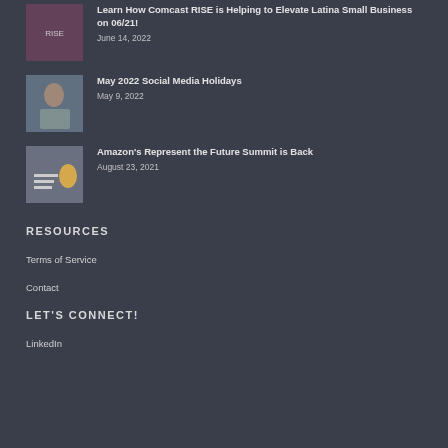[Figure (photo): Thumbnail image for Comcast RISE article about Latina Small Business]
Learn How Comcast RISE is Helping to Elevate Latina Small Business on 06/21!
June 14, 2022
[Figure (photo): Thumbnail image of a woman working at a laptop for May 2022 Social Media Holidays article]
May 2022 Social Media Holidays
May 9, 2022
[Figure (photo): Thumbnail image for Amazon Represent the Future Summit article]
Amazon's Represent the Future Summit is Back
August 23, 2021
RESOURCES
Terms of Service
Contact
LET'S CONNECT!
LinkedIn